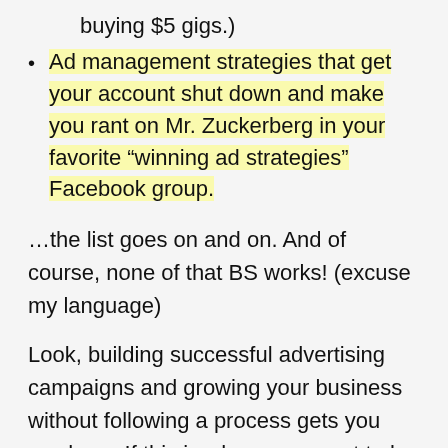buying $5 gigs.)
Ad management strategies that get your account shut down and make you rant on Mr. Zuckerberg in your favorite "winning ad strategies" Facebook group.
…the list goes on and on. And of course, none of that BS works! (excuse my language)
Look, building successful advertising campaigns and growing your business without following a process gets you nowhere. If this is where you want to be - quit reading. If not, here's how you can do it -